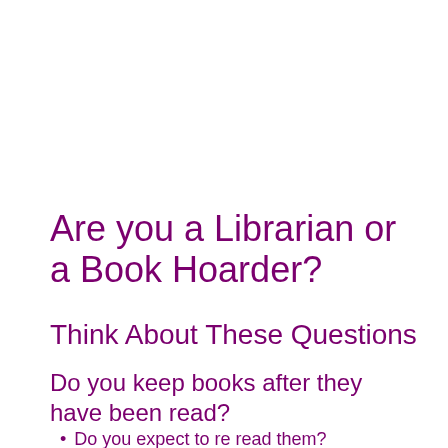Are you a Librarian or a Book Hoarder?
Think About These Questions
Do you keep books after they have been read?
Do you expect to re read them?